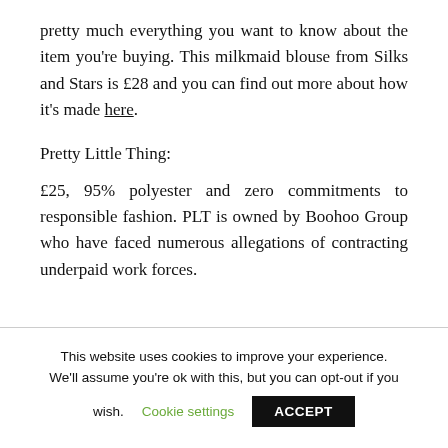pretty much everything you want to know about the item you're buying. This milkmaid blouse from Silks and Stars is £28 and you can find out more about how it's made here.
Pretty Little Thing:
£25, 95% polyester and zero commitments to responsible fashion. PLT is owned by Boohoo Group who have faced numerous allegations of contracting underpaid work forces.
This website uses cookies to improve your experience. We'll assume you're ok with this, but you can opt-out if you wish. Cookie settings ACCEPT